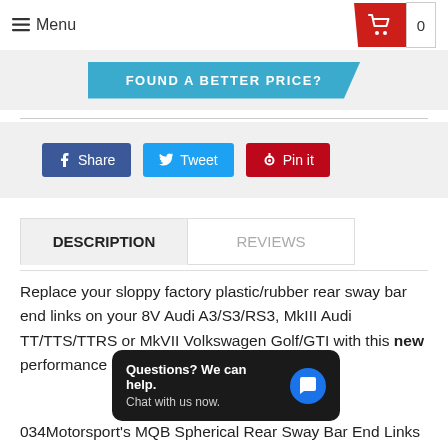≡ Menu | 0
[Figure (other): FOUND A BETTER PRICE? blue banner button]
Share  Tweet  Pin it
DESCRIPTION  REVIEWS
Replace your sloppy factory plastic/rubber rear sway bar end links on your 8V Audi A3/S3/RS3, MkIII Audi TT/TTS/TTRS or MkVII Volkswagen Golf/GTI with this new performance end link set from 034Motorsport.
034Motorsport's MQB Spherical Rear Sway Bar End Links
[Figure (other): Chat overlay popup: Questions? We can help. Chat with us now.]